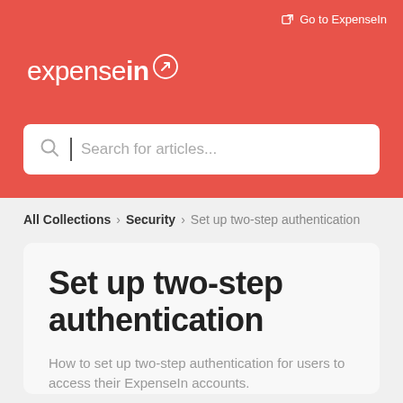Go to ExpenseIn
[Figure (logo): ExpenseIn logo in white text on red background]
Search for articles...
All Collections > Security > Set up two-step authentication
Set up two-step authentication
How to set up two-step authentication for users to access their ExpenseIn accounts.